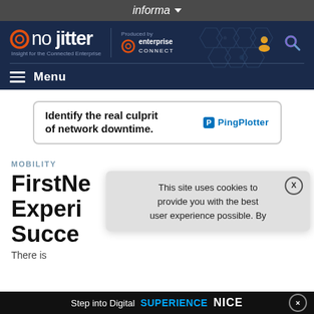informa
[Figure (logo): No Jitter logo with 'Produced by enterprise CONNECT' on dark navy background with hexagon pattern and user/search icons]
Menu
[Figure (other): PingPlotter advertisement banner: 'Identify the real culprit of network downtime.']
MOBILITY
FirstNe on Experi t Succe
[Figure (screenshot): Cookie consent modal: 'This site uses cookies to provide you with the best user experience possible. By']
There is
[Figure (other): Bottom advertisement banner: Step into Digital SUPERIENCE NICE EXPERIENCE]